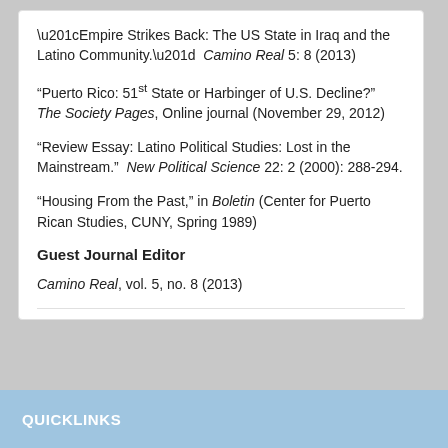“Empire Strikes Back: The US State in Iraq and the Latino Community.” Camino Real 5: 8 (2013)
“Puerto Rico: 51st State or Harbinger of U.S. Decline?” The Society Pages, Online journal (November 29, 2012)
“Review Essay: Latino Political Studies: Lost in the Mainstream.” New Political Science 22: 2 (2000): 288-294.
"Housing From the Past," in Boletin (Center for Puerto Rican Studies, CUNY, Spring 1989)
Guest Journal Editor
Camino Real, vol. 5, no. 8 (2013)
QUICKLINKS